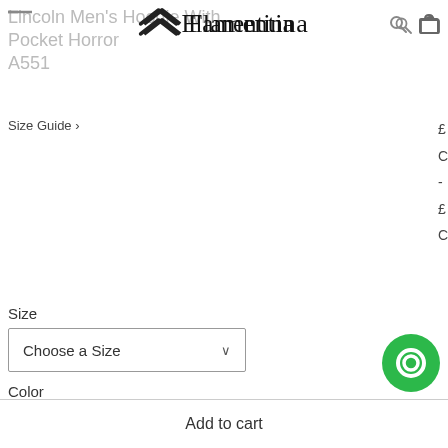Lincoln Men's Hoodie With Pocket Horror A551
[Figure (logo): Flamentina brand logo with geometric chevron icon and cursive brand name text]
Size Guide >
£
C
-
£
C
Size
Choose a Size
Color
Choose a Color
Add to cart